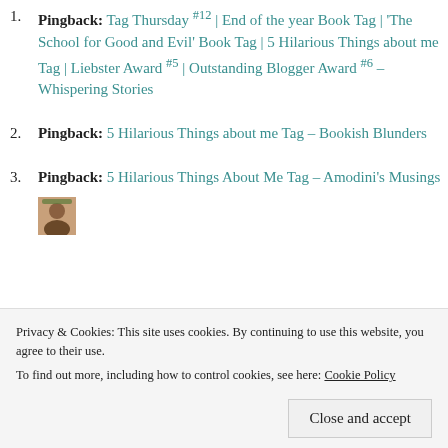Pingback: Tag Thursday #12 | End of the year Book Tag | 'The School for Good and Evil' Book Tag | 5 Hilarious Things about me Tag | Liebster Award #5 | Outstanding Blogger Award #6 – Whispering Stories
Pingback: 5 Hilarious Things about me Tag – Bookish Blunders
Pingback: 5 Hilarious Things About Me Tag – Amodini's Musings
Privacy & Cookies: This site uses cookies. By continuing to use this website, you agree to their use. To find out more, including how to control cookies, see here: Cookie Policy
Close and accept